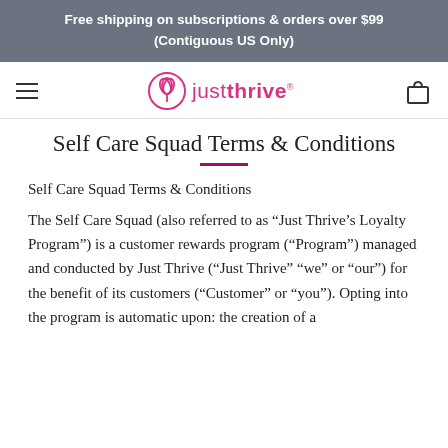Free shipping on subscriptions & orders over $99 (Contiguous US Only)
[Figure (logo): Just Thrive logo with circular leaf icon and brand name in pink/magenta]
Self Care Squad Terms & Conditions
Self Care Squad Terms & Conditions
The Self Care Squad (also referred to as “Just Thrive’s Loyalty Program”) is a customer rewards program (“Program”) managed and conducted by Just Thrive (“Just Thrive” “we” or “our”) for the benefit of its customers (“Customer” or “you”). Opting into the program is automatic upon: the creation of a